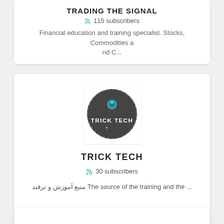TRADING THE SIGNAL
115 subscribers
Financial education and training specialist. Stocks, Commodities and C...
[Figure (logo): Trick Tech circular logo with dark background and blue icon]
TRICK TECH
30 subscribers
منبع آموزش و ترفند The source of the training and the ...